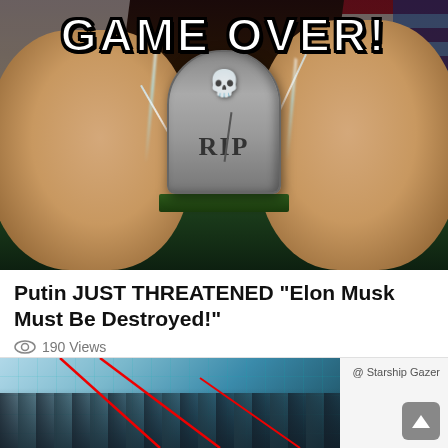[Figure (illustration): Thumbnail image showing Putin on the left, Elon Musk on the right, a gravestone with skull-and-crossbones and RIP text in the center, lightning bolts, Russian and American flags in background, and 'GAME OVER!' text at the top in large impact font.]
Putin JUST THREATENED "Elon Musk Must Be Destroyed!"
190 Views
[Figure (screenshot): Partial thumbnail showing a blue-tinted image with grid lines and red diagonal lines overlaid, associated with Starship Gazer channel.]
@ Starship Gazer